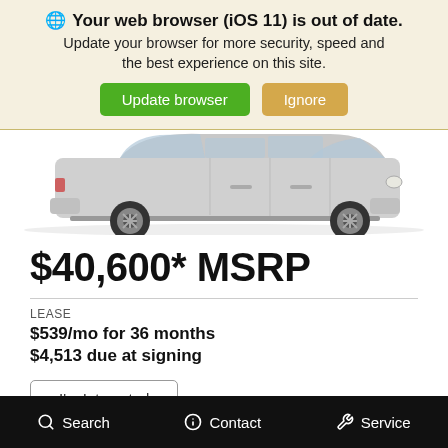🌐 Your web browser (iOS 11) is out of date. Update your browser for more security, speed and the best experience on this site.
Update browser
Ignore
[Figure (photo): Side profile of a silver SUV (crossover vehicle) on white background]
$40,600* MSRP
LEASE
$539/mo for 36 months
$4,513 due at signing
I'm Interested
Search   Contact   Service